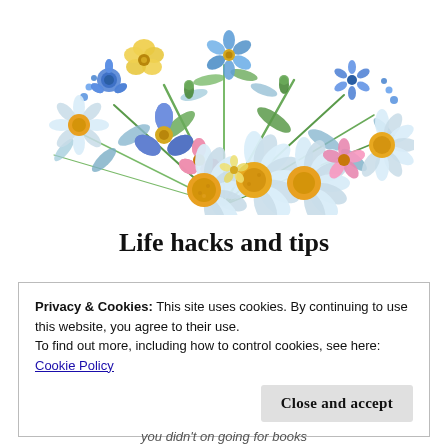[Figure (illustration): Watercolor bouquet of wildflowers including white daisies with yellow centers, blue cornflowers, pink and purple flowers, yellow pansies, and green foliage arranged in a horizontal arc.]
Life hacks and tips
Privacy & Cookies: This site uses cookies. By continuing to use this website, you agree to their use.
To find out more, including how to control cookies, see here: Cookie Policy
you didn't on going for books